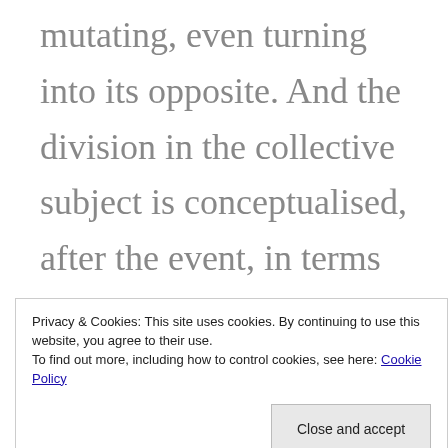mutating, even turning into its opposite. And the division in the collective subject is conceptualised, after the event, in terms of which class elements play a vanguard role and which function as avatars of reactionary class interests. The vanguard is not the Leninist Party
Privacy & Cookies: This site uses cookies. By continuing to use this website, you agree to their use. To find out more, including how to control cookies, see here: Cookie Policy
Close and accept
itself as proletariat, demanding